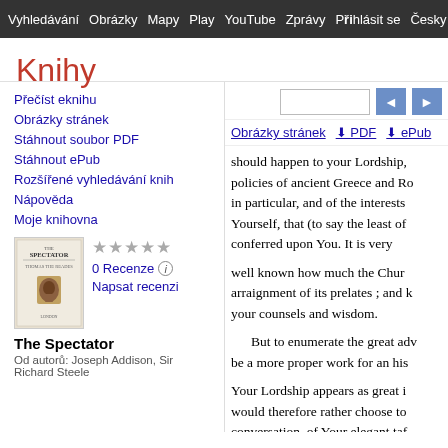Vyhledávání Obrázky Mapy Play YouTube Zprávy Přihlásit se Česky ⚙ Da
Knihy
Přečíst eknihu
Obrázky stránek
Stáhnout soubor PDF
Stáhnout ePub
Rozšířené vyhledávání knih
Nápověda
Moje knihovna
0 Recenze
Napsat recenzi
The Spectator
Od autorů: Joseph Addison, Sir Richard Steele
[Figure (screenshot): Google Books interface showing toolbar with page navigation input, navigation arrows, and links for Obrázky stránek, PDF, ePub downloads]
should happen to your Lordship, policies of ancient Greece and Ro in particular, and of the interests Yourself, that (to say the least of conferred upon You. It is very

well known how much the Chur arraignment of its prelates ; and your counsels and wisdom.

But to enumerate the great adv be a more proper work for an his

Your Lordship appears as great i would therefore rather choose to conversation, of Your elegant ta complacency of manners, and of